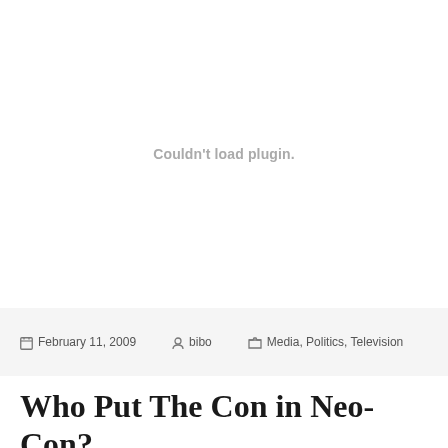[Figure (other): Plugin placeholder area showing 'Couldn't load plugin.' message in gray text on white background]
February 11, 2009  bibo  Media, Politics, Television
Who Put The Con in Neo-Con?